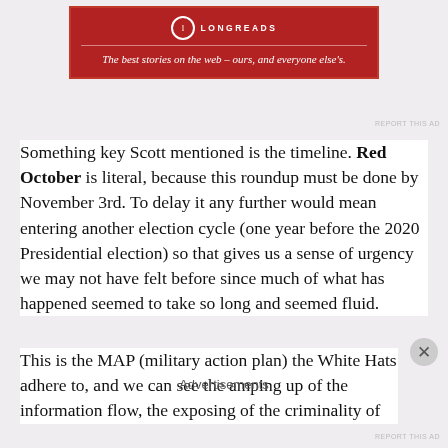[Figure (other): Longreads advertisement banner with dark red background, circular logo, and italic tagline: 'The best stories on the web – ours, and everyone else's.']
Something key Scott mentioned is the timeline. Red October is literal, because this roundup must be done by November 3rd. To delay it any further would mean entering another election cycle (one year before the 2020 Presidential election) so that gives us a sense of urgency we may not have felt before since much of what has happened seemed to take so long and seemed fluid.
This is the MAP (military action plan) the White Hats adhere to, and we can see the amping up of the information flow, the exposing of the criminality of
Advertisements